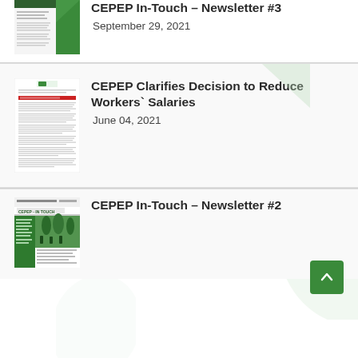[Figure (screenshot): Thumbnail of CEPEP In-Touch Newsletter #3 document cover]
CEPEP In-Touch – Newsletter #3
September 29, 2021
[Figure (screenshot): Thumbnail of CEPEP press release document about workers salaries]
CEPEP Clarifies Decision to Reduce Workers` Salaries
June 04, 2021
[Figure (screenshot): Thumbnail of CEPEP In-Touch Newsletter #2 document cover]
CEPEP In-Touch – Newsletter #2